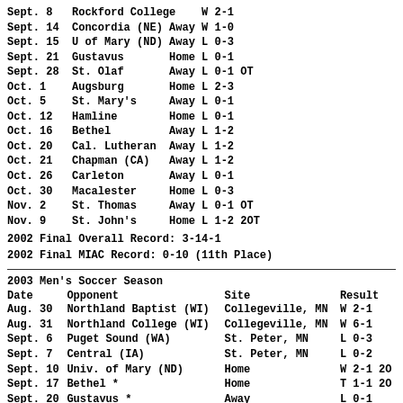Sept. 8   Rockford College    W 2-1
Sept. 14  Concordia (NE) Away W 1-0
Sept. 15  U of Mary (ND) Away L 0-3
Sept. 21  Gustavus       Home L 0-1
Sept. 28  St. Olaf       Away L 0-1 OT
Oct. 1    Augsburg       Home L 2-3
Oct. 5    St. Mary's     Away L 0-1
Oct. 12   Hamline        Home L 0-1
Oct. 16   Bethel         Away L 1-2
Oct. 20   Cal. Lutheran  Away L 1-2
Oct. 21   Chapman (CA)   Away L 1-2
Oct. 26   Carleton       Away L 0-1
Oct. 30   Macalester     Home L 0-3
Nov. 2    St. Thomas     Away L 0-1 OT
Nov. 9    St. John's     Home L 1-2 2OT
2002 Final Overall Record: 3-14-1
2002 Final MIAC Record: 0-10 (11th Place)
2003 Men's Soccer Season
| Date | Opponent | Site | Result |
| --- | --- | --- | --- |
| Aug. 30 | Northland Baptist (WI) | Collegeville, MN | W 2-1 |
| Aug. 31 | Northland College (WI) | Collegeville, MN | W 6-1 |
| Sept. 6 | Puget Sound (WA) | St. Peter, MN | L 0-3 |
| Sept. 7 | Central (IA) | St. Peter, MN | L 0-2 |
| Sept. 10 | Univ. of Mary (ND) | Home | W 2-1 2O |
| Sept. 17 | Bethel * | Home | T 1-1 2O |
| Sept. 20 | Gustavus * | Away | L 0-1 |
| Sept. 24 | Augsburg * | Away | T 1-1 2O |
| Sept. 27 | Carleton * | Home | L 0-1 |